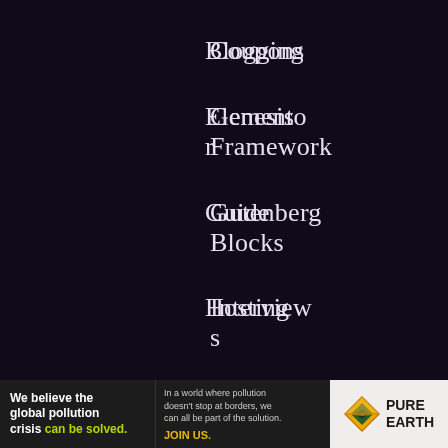Blogging
Coupons
Elementor
Genesis Framework
Guide
Gutenberg Blocks
Hosting
Interviews
Membership
News
Plugins
Reviews
Resources
[Figure (infographic): Pure Earth advertisement banner: 'We believe the global pollution crisis can be solved. In a world where pollution doesn't stop at borders, we can all be part of the solution. JOIN US.' with Pure Earth logo (diamond/triangle icon).]